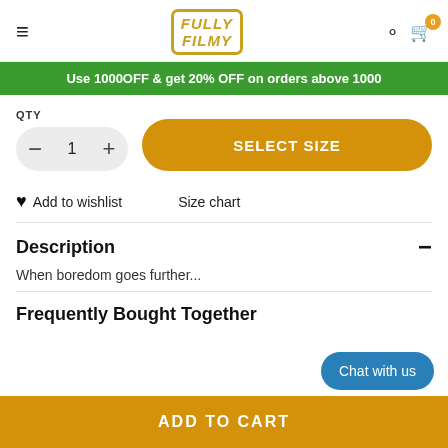Fully Filmy logo, hamburger menu, search and cart icons
Use 1000OFF & get 20% OFF on orders above 1000
QTY — 1 — SELECT SIZE
Add to wishlist   Size chart
Description
When boredom goes further...
Frequently Bought Together
ADD TO CART
Chat with us